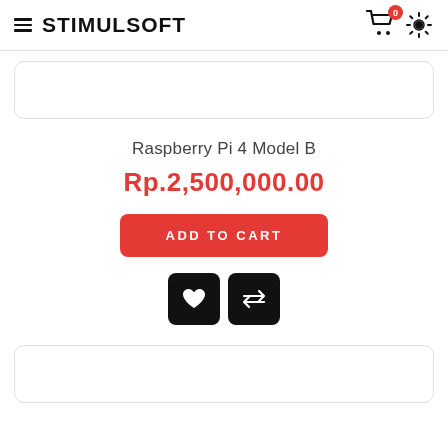STIMULSOFT
[Figure (screenshot): Partial product card image placeholder at top]
Raspberry Pi 4 Model B
Rp.2,500,000.00
ADD TO CART
[Figure (illustration): Two action buttons: heart/wishlist and compare arrows, black rounded squares]
[Figure (screenshot): Partial product card image placeholder at bottom]